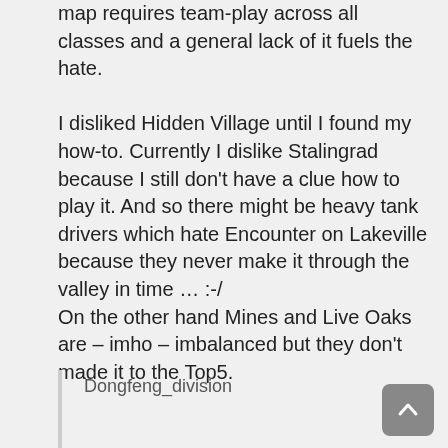map requires team-play across all classes and a general lack of it fuels the hate.

I disliked Hidden Village until I found my how-to. Currently I dislike Stalingrad because I still don't have a clue how to play it. And so there might be heavy tank drivers which hate Encounter on Lakeville because they never make it through the valley in time … :-/
On the other hand Mines and Live Oaks are – imho – imbalanced but they don't made it to the Top5.
Dongfeng_division